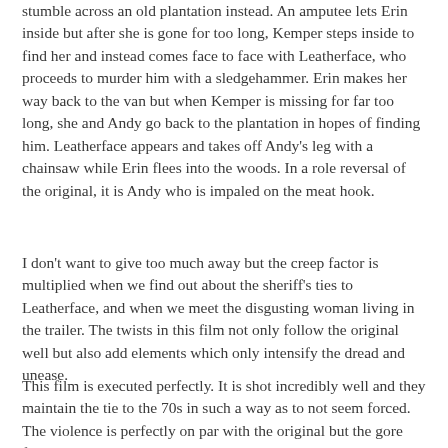stumble across an old plantation instead. An amputee lets Erin inside but after she is gone for too long, Kemper steps inside to find her and instead comes face to face with Leatherface, who proceeds to murder him with a sledgehammer. Erin makes her way back to the van but when Kemper is missing for far too long, she and Andy go back to the plantation in hopes of finding him. Leatherface appears and takes off Andy's leg with a chainsaw while Erin flees into the woods. In a role reversal of the original, it is Andy who is impaled on the meat hook.
I don't want to give too much away but the creep factor is multiplied when we find out about the sheriff's ties to Leatherface, and when we meet the disgusting woman living in the trailer. The twists in this film not only follow the original well but also add elements which only intensify the dread and unease.
This film is executed perfectly. It is shot incredibly well and they maintain the tie to the 70s in such a way as to not seem forced. The violence is perfectly on par with the original but the gore factor is ratcheted up to adhere to